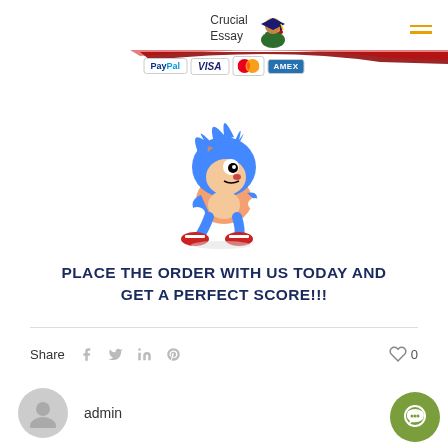Crucial Essay
[Figure (logo): Crucial Essay logo with graduation cap icon]
[Figure (illustration): Payment method icons: PayPal, VISA, Mastercard, American Express]
[Figure (illustration): Sonic the Hedgehog cartoon character illustration]
PLACE THE ORDER WITH US TODAY AND GET A PERFECT SCORE!!!
Share  0
admin